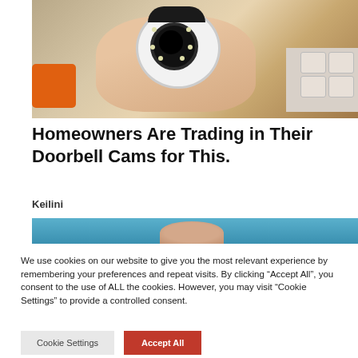[Figure (photo): A hand holding a small white round security camera with a black lens surrounded by LED lights, with orange drill and white items in background.]
Homeowners Are Trading in Their Doorbell Cams for This.
Keilini
[Figure (photo): Partial view of a person in blue clothing, partially cropped at bottom of frame.]
We use cookies on our website to give you the most relevant experience by remembering your preferences and repeat visits. By clicking “Accept All”, you consent to the use of ALL the cookies. However, you may visit "Cookie Settings" to provide a controlled consent.